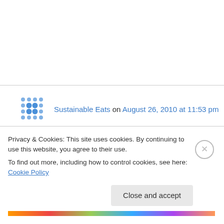Sustainable Eats on August 26, 2010 at 11:53 pm
“two boys is half a boy and three boys is no boy at all”
I LOVE THIS! And wow is that corn tall. Did you consider planting a maze of it? How fun!
I also love the image of your jar on top of the
Privacy & Cookies: This site uses cookies. By continuing to use this website, you agree to their use.
To find out more, including how to control cookies, see here: Cookie Policy